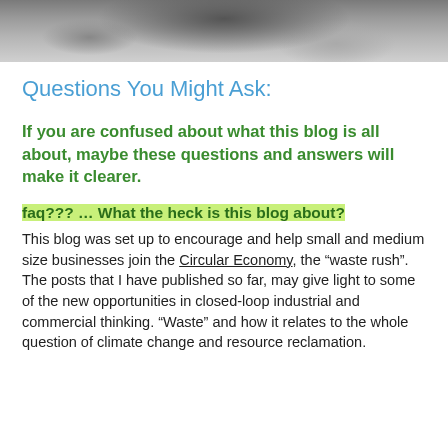[Figure (photo): Grayscale photo strip of an animal (appears to be a bear or similar large animal) at the top of the page]
Questions You Might Ask:
If you are confused about what this blog is all about, maybe these questions and answers will make it clearer.
faq??? ... What the heck is this blog about?
This blog was set up to encourage and help small and medium size businesses join the Circular Economy, the “waste rush”.  The posts that I have published so far, may give light to some of the new opportunities in closed-loop industrial and commercial thinking. “Waste” and how it relates to the whole question of climate change and resource reclamation.